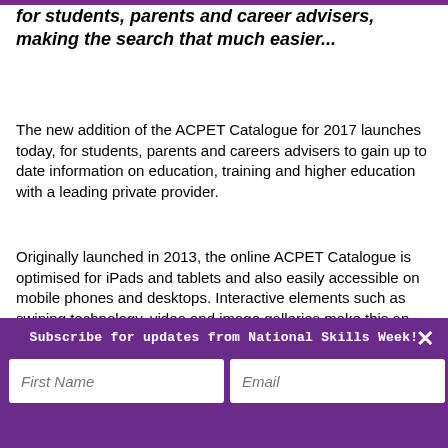for students, parents and career advisers, making the search that much easier...
The new addition of the ACPET Catalogue for 2017 launches today, for students, parents and careers advisers to gain up to date information on education, training and higher education with a leading private provider.
Originally launched in 2013, the online ACPET Catalogue is optimised for iPads and tablets and also easily accessible on mobile phones and desktops. Interactive elements such as swiping technology, video and image galleries make this an appealing tool for varied user groups.
Now with more listings than ever before the Catalogue is
Subscribe for updates from National Skills Week!
First Name
Email
SIGN UP